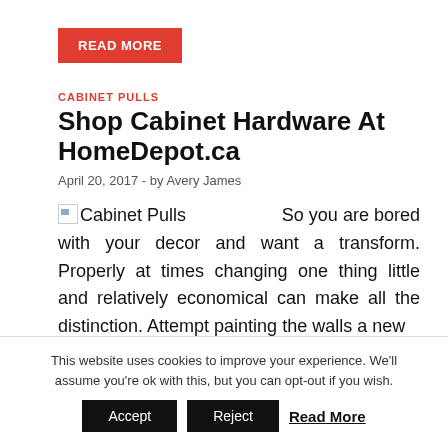READ MORE
CABINET PULLS
Shop Cabinet Hardware At HomeDepot.ca
April 20, 2017  -  by Avery James
So you are bored with your decor and want a transform. Properly at times changing one thing little and relatively economical can make all the distinction. Attempt painting the walls a new
This website uses cookies to improve your experience. We'll assume you're ok with this, but you can opt-out if you wish.
Accept   Reject   Read More